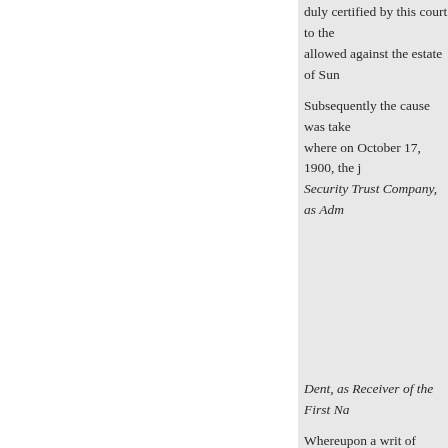duly certified by this court to the allowed against the estate of Sun
Subsequently the cause was take where on October 17, 1900, the j Security Trust Company, as Adm
Dent, as Receiver of the First Na
Whereupon a writ of certiorari w
Mr. Edmund S. Durment for petit
Mr. Edward C. Stringer for respo
MR. JUSTICE Shiras, after m
This was a suit brought in Januar Minnesota, by the Black River N the United States, and doing busi Trust Company of St. Paul, Minn